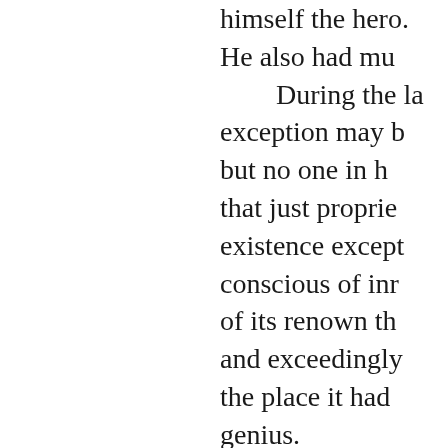himself the hero. He also had mu

During the la exception may b but no one in h that just proprie existence except conscious of inr of its renown th and exceedingly the place it had genius.

Telling Camp had been abused